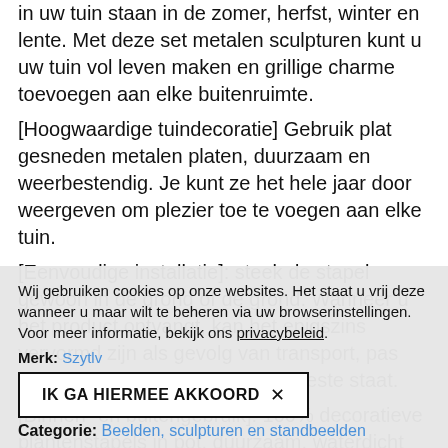in uw tuin staan in de zomer, herfst, winter en lente. Met deze set metalen sculpturen kunt u uw tuin vol leven maken en grillige charme toevoegen aan elke buitenruimte.
[Hoogwaardige tuindecoratie] Gebruik plat gesneden metalen platen, duurzaam en weerbestendig. Je kunt ze het hele jaar door weergeven om plezier toe te voegen aan elke tuin.
[Eenvoudige installatie]: steek de stapel gewoon in de grond of de grond. Wanneer u het product ontvangt, kan het enigszins vervormd zijn als gevolg van transport, pas het dan met de hand aan in de beste staat.
[Binnen- en buitengebruik]: 100% decoratieve plantenstapels in pot, duurzaam, waterdicht en roestvrij, veel gebruikt binnen en buiten, het is een uitstekend cadeau voor familieleden en vrienden.
Wij gebruiken cookies op onze websites. Het staat u vrij deze wanneer u maar wilt te beheren via uw browserinstellingen. Voor meer informatie, bekijk ons privacybeleid.
Merk: Szytlv
IK GA HIERMEE AKKOORD ×
Categorie: Beelden, sculpturen en standbeelden